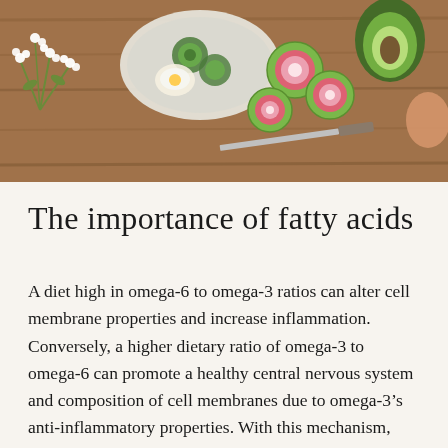[Figure (photo): Overhead view of healthy foods on a wooden table including avocado, radishes, eggs, cucumber slices on a plate, white flowers, and a knife.]
The importance of fatty acids
A diet high in omega-6 to omega-3 ratios can alter cell membrane properties and increase inflammation. Conversely, a higher dietary ratio of omega-3 to omega-6 can promote a healthy central nervous system and composition of cell membranes due to omega-3’s anti-inflammatory properties. With this mechanism, omega-3s have been shown to affect dopamine and serotonin neurotransmission. These two